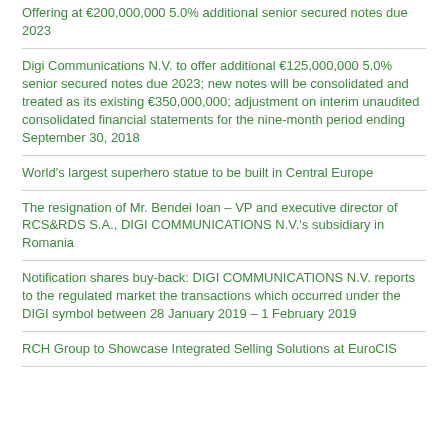Offering at €200,000,000 5.0% additional senior secured notes due 2023
Digi Communications N.V. to offer additional €125,000,000 5.0% senior secured notes due 2023; new notes will be consolidated and treated as its existing €350,000,000; adjustment on interim unaudited consolidated financial statements for the nine-month period ending September 30, 2018
World's largest superhero statue to be built in Central Europe
The resignation of Mr. Bendei Ioan – VP and executive director of RCS&RDS S.A., DIGI COMMUNICATIONS N.V.'s subsidiary in Romania
Notification shares buy-back: DIGI COMMUNICATIONS N.V. reports to the regulated market the transactions which occurred under the DIGI symbol between 28 January 2019 – 1 February 2019
RCH Group to Showcase Integrated Selling Solutions at EuroCIS